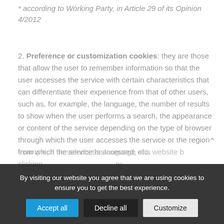* according to Working Party, in Article 29 of its Opinion 4/2012
2. Preference or customization cookies: they are those that allow the user to remember information so that the user accesses the service with certain characteristics that can differentiate their experience from that of other users, such as, for example, the language, the number of results to show when the user performs a search, the appearance or content of the service depending on the type of browser through which the user accesses the service or the region from which the service is accessed, etc.
example, if he selects the language of a website b clicking ... try
By visiting our website you agree that we are using cookies to ensure you to get the best experience.